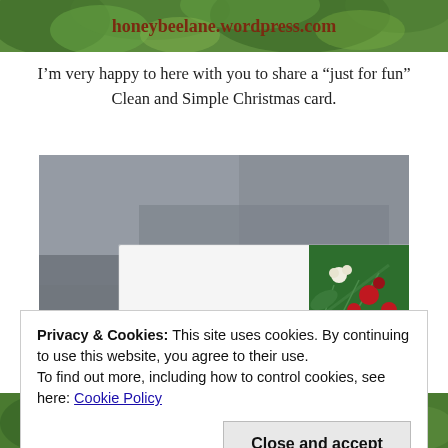[Figure (photo): Top banner image of a blog header for honeybeelane.wordpress.com with green foliage background and URL text in brown/red]
I’m very happy to here with you to share a “just for fun” Clean and Simple Christmas card.
[Figure (photo): Photo of a white Christmas card with green and red botanical design featuring pinecones, berries, and pine branches, propped against a grey background]
Privacy & Cookies: This site uses cookies. By continuing to use this website, you agree to their use.
To find out more, including how to control cookies, see here: Cookie Policy
[Figure (photo): Bottom strip showing partial Christmas card photos with red script letters visible]